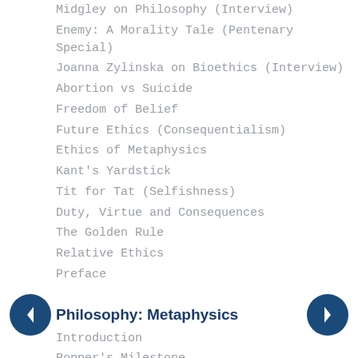Midgley on Philosophy (Interview)
Enemy: A Morality Tale (Pentenary Special)
Joanna Zylinska on Bioethics (Interview)
Abortion vs Suicide
Freedom of Belief
Future Ethics (Consequentialism)
Ethics of Metaphysics
Kant's Yardstick
Tit for Tat (Selfishness)
Duty, Virtue and Consequences
The Golden Rule
Relative Ethics
Preface
Philosophy: Metaphysics
Introduction
Popper's Milestone
Marxism
A Deck of Realities